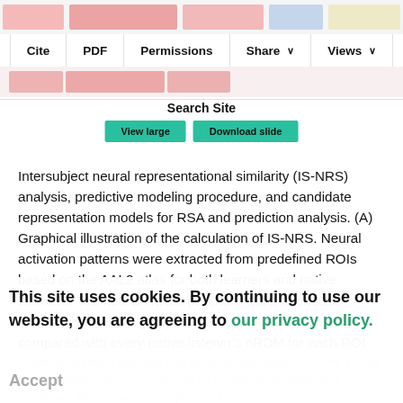[Figure (screenshot): Browser toolbar with Cite, PDF, Permissions, Share, Views buttons and blurred article header image strips]
Search Site
[Figure (screenshot): Two teal/green action buttons: 'View large' and 'Download slide']
Intersubject neural representational similarity (IS-NRS) analysis, predictive modeling procedure, and candidate representation models for RSA and prediction analysis. (A) Graphical illustration of the calculation of IS-NRS. Neural activation patterns were extracted from predefined ROIs based on the AAL2 atlas for both learners and native listeners. The neural RDMs (nRDMs) were calculated separately for each group. Each learner's nRDM was compared with every native listener's nRDM for each ROI.
The IS-NRSs were then generated and used as predictive features to predict learning success (the amounts and speed), for the 10-fold cross-validated (LOV) procedure for model construction and validation. All learners were split into 10 folds
This site uses cookies. By continuing to use our website, you are agreeing to our privacy policy.
Accept